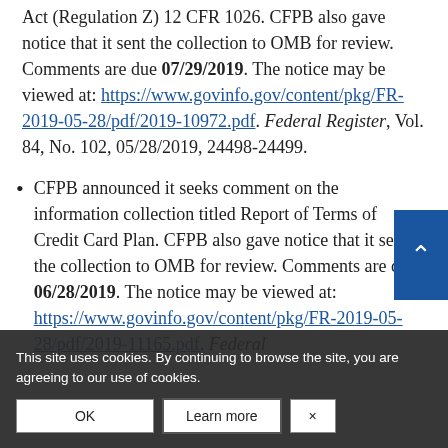Act (Regulation Z) 12 CFR 1026. CFPB also gave notice that it sent the collection to OMB for review. Comments are due 07/29/2019. The notice may be viewed at: https://www.govinfo.gov/content/pkg/FR-2019-05-28/pdf/2019-10972.pdf. Federal Register, Vol. 84, No. 102, 05/28/2019, 24498-24499.
CFPB announced it seeks comment on the information collection titled Report of Terms of Credit Card Plan. CFPB also gave notice that it sent the collection to OMB for review. Comments are due 06/28/2019. The notice may be viewed at: https://www.govinfo.gov/content/pkg/FR-2019-05-28/pdf/2019-11165.pdf. Federal Register, ...